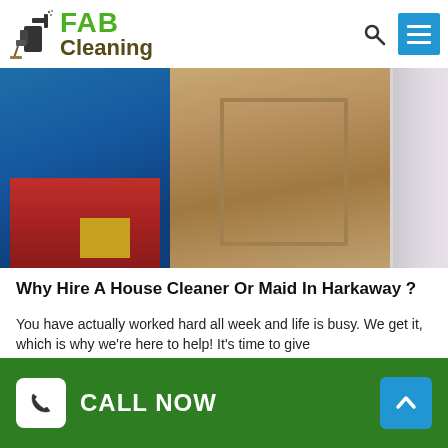[Figure (logo): FAB Cleaning logo with spray bottle icon, green FAB text and brown Cleaning text]
[Figure (photo): A person in blue jacket and red clothing standing next to a wooden door with beige/tan panels, light grey wall on right]
Why Hire A House Cleaner Or Maid In Harkaway ?
You have actually worked hard all week and life is busy. We get it, which is why we're here to help! It's time to give
[Figure (other): Green footer bar with CALL NOW button (white phone icon box) and blue up-arrow button]